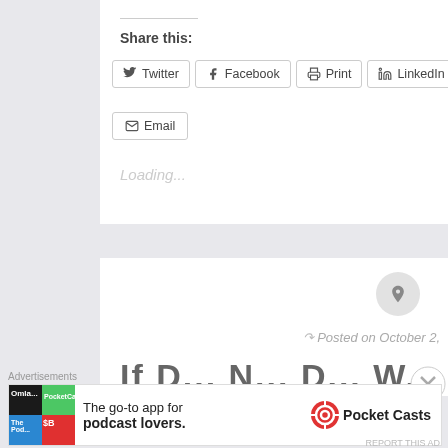Share this:
Twitter
Facebook
Print
LinkedIn
Email
Loading...
Posted on October 2,
[Figure (screenshot): Pin/bookmark button (circular gray button with pin icon)]
Advertisements
[Figure (illustration): Pocket Casts advertisement banner: 'The go-to app for podcast lovers.' with Pocket Casts logo]